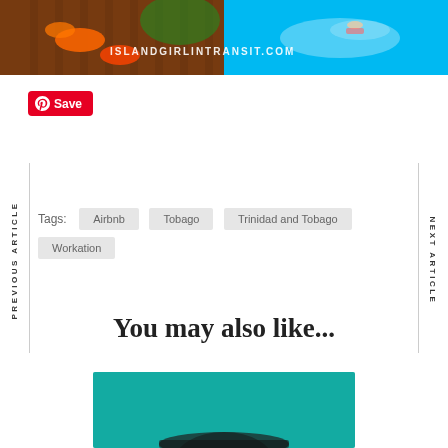[Figure (photo): Top strip showing two photos side by side: left is a tropical scene with orange flowers and wooden railing, right is a swimming pool aerial view with a person swimming. Text overlay: ISLANDGIRLINTRANSIT.COM]
Save
PREVIOUS ARTICLE
NEXT ARTICLE
Tags: Airbnb  Tobago  Trinidad and Tobago  Workation
You may also like...
[Figure (photo): Partial bottom image with teal/turquoise background showing a person with a hat, partially cropped]